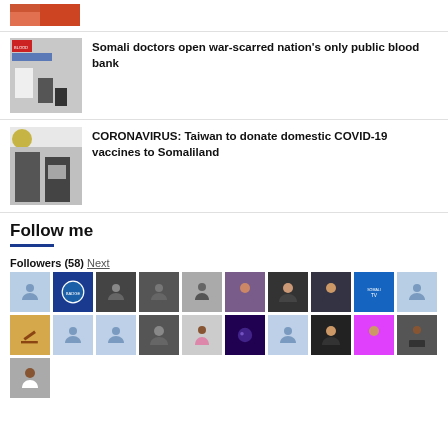[Figure (photo): Partial view of a photo at the top, cropped]
[Figure (photo): Blood bank service photo with medical staff]
Somali doctors open war-scarred nation's only public blood bank
[Figure (photo): Two men in suits holding a document/certificate]
CORONAVIRUS: Taiwan to donate domestic COVID-19 vaccines to Somaliland
Follow me
Followers (58) Next
[Figure (photo): Grid of 21 follower avatar thumbnails]